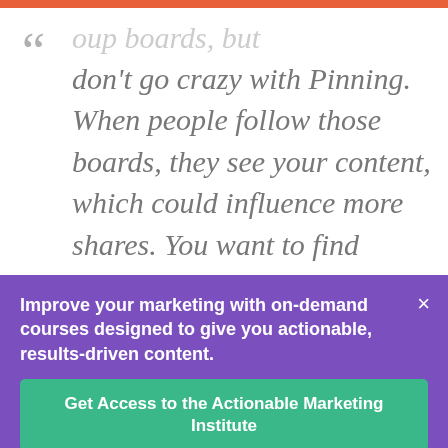…roup boards, but don't go crazy with Pinning. When people follow those boards, they see your content, which could influence more shares. You want to find group boards that have high followers and relatively low contributors.
Improve your marketing with on-demand courses designed to give you actionable, results-driven content.
Get Access to the Actionable Marketing Institute